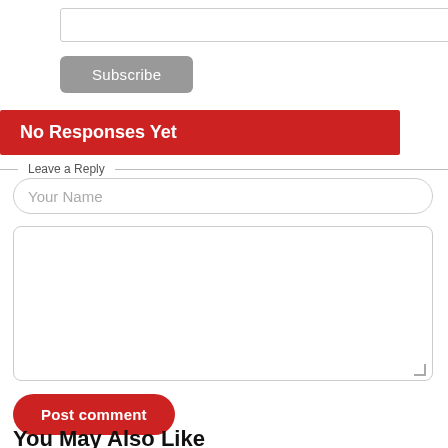[Figure (screenshot): Email subscription input field (empty text box)]
[Figure (screenshot): Subscribe button (gray rounded rectangle)]
No Responses Yet
Leave a Reply
[Figure (screenshot): Your Name input field (rounded text input)]
[Figure (screenshot): Comment textarea (large text area)]
[Figure (screenshot): Post comment button (red rounded button)]
You May Also Like